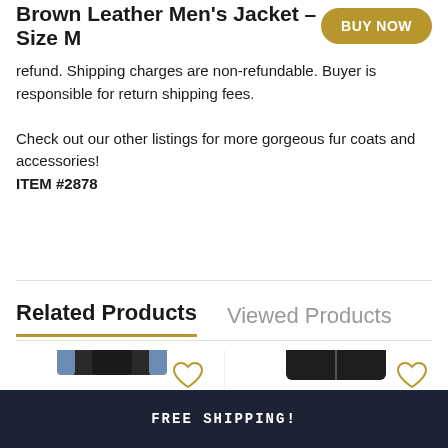Brown Leather Men's Jacket - Size M
refund. Shipping charges are non-refundable. Buyer is responsible for return shipping fees.

Check out our other listings for more gorgeous fur coats and accessories!
ITEM #2878
Related Products
Viewed Products
[Figure (photo): Dark fur vest jacket on a mannequin hanger with a gold heart/wishlist icon]
[Figure (photo): Dark leather biker jacket on a mannequin hanger with a gold heart/wishlist icon]
FREE SHIPPING!